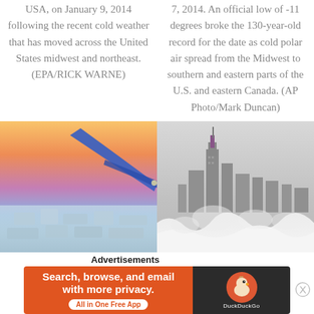USA, on January 9, 2014 following the recent cold weather that has moved across the United States midwest and northeast. (EPA/RICK WARNE)
7, 2014. An official low of -11 degrees broke the 130-year-old record for the date as cold polar air spread from the Midwest to southern and eastern parts of the U.S. and eastern Canada. (AP Photo/Mark Duncan)
[Figure (photo): Aerial view from airplane window showing a frozen, snow-covered cityscape with orange and blue sky at sunset]
[Figure (photo): Black and white photo of Chicago skyline with frozen, icy waves and mist in the foreground]
Advertisements
[Figure (infographic): DuckDuckGo advertisement banner: 'Search, browse, and email with more privacy. All in One Free App' with orange background on left and dark background with DuckDuckGo logo on right]